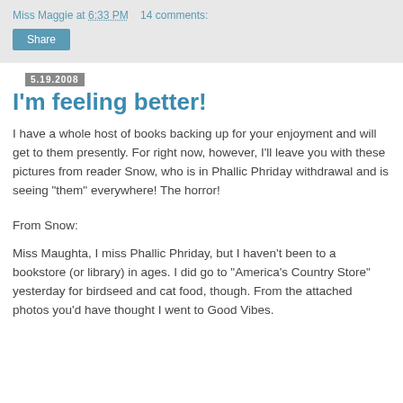Miss Maggie at 6:33 PM   14 comments:
5.19.2008
I'm feeling better!
I have a whole host of books backing up for your enjoyment and will get to them presently. For right now, however, I'll leave you with these pictures from reader Snow, who is in Phallic Phriday withdrawal and is seeing "them" everywhere! The horror!
From Snow:
Miss Maughta, I miss Phallic Phriday, but I haven't been to a bookstore (or library) in ages. I did go to "America's Country Store" yesterday for birdseed and cat food, though. From the attached photos you'd have thought I went to Good Vibes.